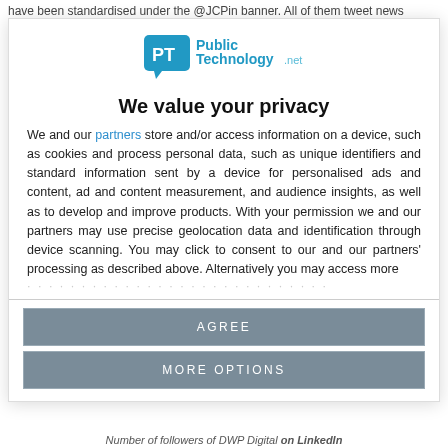have been standardised under the @JCPin banner. All of them tweet news
[Figure (logo): PublicTechnology.net logo with PT icon in teal speech bubble]
We value your privacy
We and our partners store and/or access information on a device, such as cookies and process personal data, such as unique identifiers and standard information sent by a device for personalised ads and content, ad and content measurement, and audience insights, as well as to develop and improve products. With your permission we and our partners may use precise geolocation data and identification through device scanning. You may click to consent to our and our partners' processing as described above. Alternatively you may access more …
AGREE
MORE OPTIONS
Number of followers of DWP Digital on LinkedIn